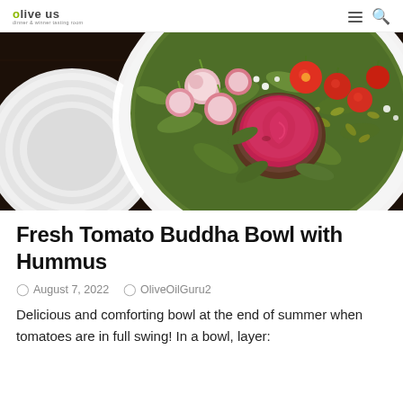olive us
[Figure (photo): Overhead view of a Buddha bowl on a dark wooden surface. A white ridged plate is visible on the left side. The bowl contains mixed greens, sliced radishes, cherry tomatoes, and a small dark bowl filled with vibrant pink/red beet hummus, garnished with pumpkin seeds.]
Fresh Tomato Buddha Bowl with Hummus
August 7, 2022   OliveOilGuru2
Delicious and comforting bowl at the end of summer when tomatoes are in full swing! In a bowl, layer: